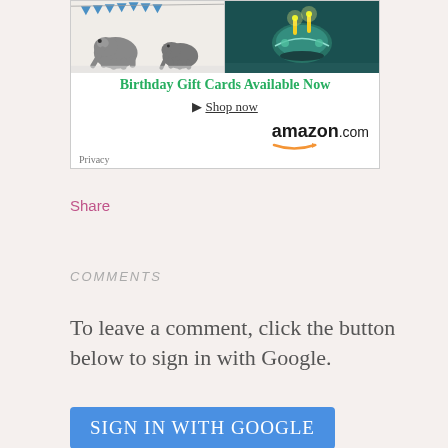[Figure (screenshot): Amazon Birthday Gift Cards advertisement banner showing two gift card images, 'Birthday Gift Cards Available Now' text, 'Shop now' link, amazon.com logo, and Privacy text]
Share
COMMENTS
To leave a comment, click the button below to sign in with Google.
SIGN IN WITH GOOGLE